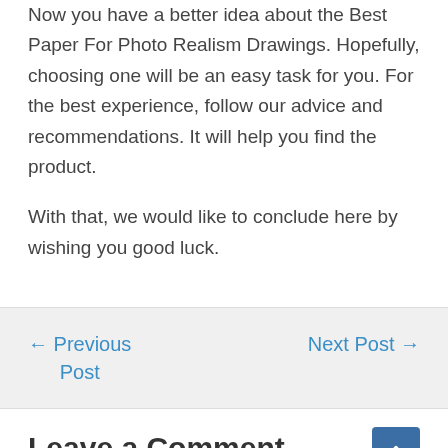Now you have a better idea about the Best Paper For Photo Realism Drawings. Hopefully, choosing one will be an easy task for you. For the best experience, follow our advice and recommendations. It will help you find the product.
With that, we would like to conclude here by wishing you good luck.
← Previous Post
Next Post →
Leave a Comment
Your email address will not be published. Required